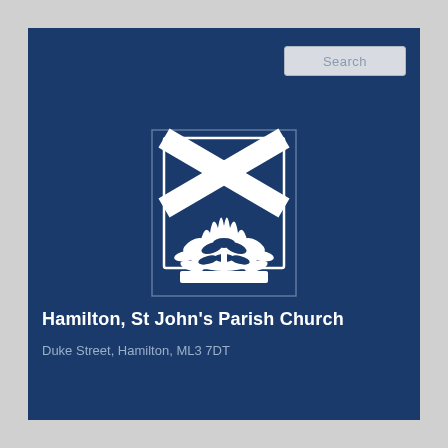[Figure (logo): Church of Scotland crest/logo: a shield with a white X (St Andrew's cross) at top and a burning bush with leaves below, all white on dark blue background, inside a square border]
Hamilton, St John's Parish Church
Duke Street, Hamilton, ML3 7DT